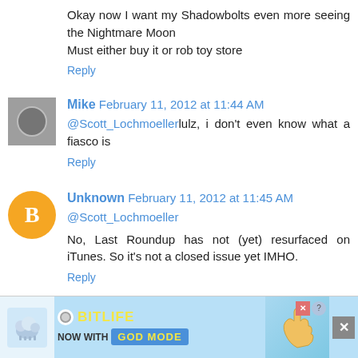Okay now I want my Shadowbolts even more seeing the Nightmare Moon
Must either buy it or rob toy store
Reply
Mike  February 11, 2012 at 11:44 AM
@Scott_Lochmoellerlulz, i don't even know what a fiasco is
Reply
Unknown  February 11, 2012 at 11:45 AM
@Scott_Lochmoeller
No, Last Roundup has not (yet) resurfaced on iTunes. So it's not a closed issue yet IMHO.
Reply
[Figure (screenshot): BitLife advertisement banner with 'NOW WITH GOD MODE' text and a pointing hand graphic]